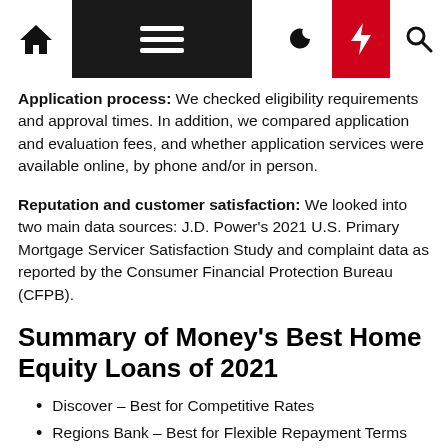Navigation bar with home, menu, moon, lightning, search icons
Application process: We checked eligibility requirements and approval times. In addition, we compared application and evaluation fees, and whether application services were available online, by phone and/or in person.
Reputation and customer satisfaction: We looked into two main data sources: J.D. Power's 2021 U.S. Primary Mortgage Servicer Satisfaction Study and complaint data as reported by the Consumer Financial Protection Bureau (CFPB).
Summary of Money's Best Home Equity Loans of 2021
Discover – Best for Competitive Rates
Regions Bank – Best for Flexible Repayment Terms